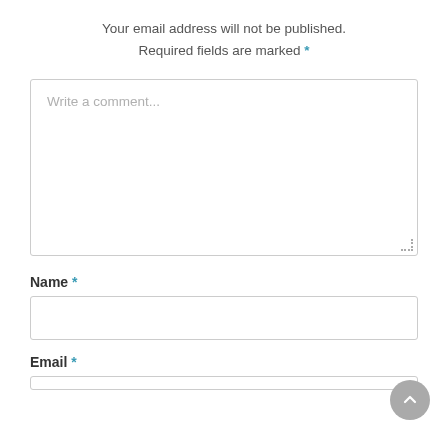Your email address will not be published. Required fields are marked *
Write a comment...
Name *
Email *